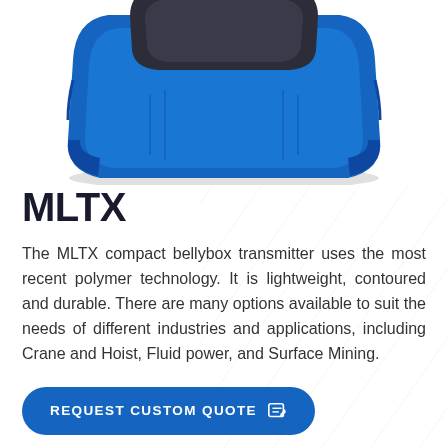[Figure (photo): Blue compact bellybox transmitter device (MLTX) photographed from above at an angle, showing a dark gray top panel and blue rounded body.]
MLTX
The MLTX compact bellybox transmitter uses the most recent polymer technology. It is lightweight, contoured and durable. There are many options available to suit the needs of different industries and applications, including Crane and Hoist, Fluid power, and Surface Mining.
REQUEST CUSTOM QUOTE